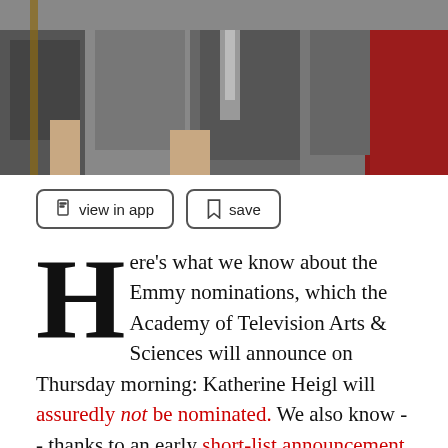[Figure (photo): Photo of several people in suits standing together, cropped at torso level]
view in app   save
Here's what we know about the Emmy nominations, which the Academy of Television Arts & Sciences will announce on Thursday morning: Katherine Heigl will assuredly not be nominated. We also know -- thanks to an early short-list announcement from the Academy -- which shows are officially in contention for outstanding comedy and drama series mentions.

Another sure thing: We're bound to be disappointed